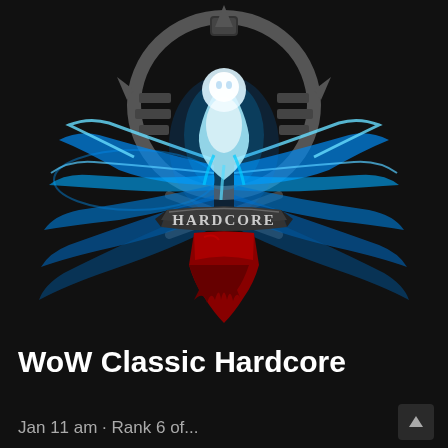[Figure (logo): WoW Classic Hardcore logo: a glowing blue phoenix/spirit with outstretched wings spreading wide, centered on a dark background. Below the spirit is a metallic banner reading 'HARDCORE' in silver lettering, mounted on a dark iron frame. Beneath the banner hangs a torn, dripping red shield/crest. The entire emblem is framed by a spiked dark iron circular gear/wheel at the top.]
WoW Classic Hardcore
Jan 11 am - Rank 6 of...